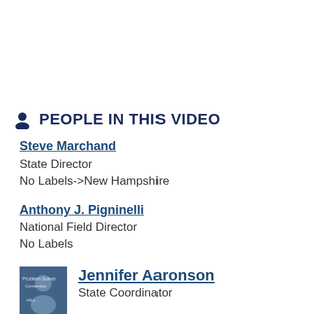PEOPLE IN THIS VIDEO
Steve Marchand
State Director
No Labels->New Hampshire
Anthony J. Pigninelli
National Field Director
No Labels
[Figure (photo): Photo of Jennifer Aaronson at a convention event]
Jennifer Aaronson
State Coordinator